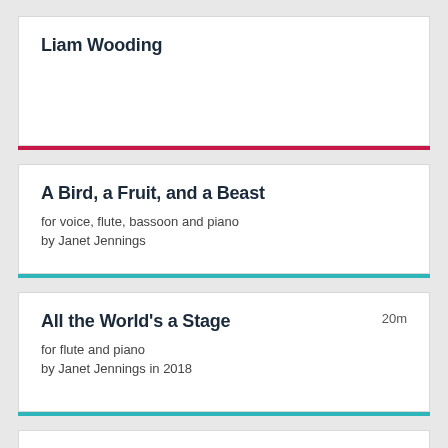Liam Wooding
A Bird, a Fruit, and a Beast
for voice, flute, bassoon and piano
by Janet Jennings
All the World's a Stage
20m
for flute and piano
by Janet Jennings in 2018